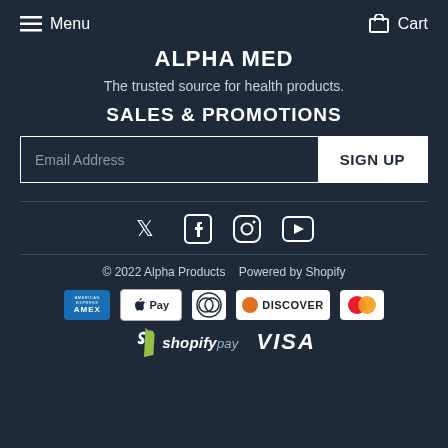Menu   Cart
ALPHA MED
The trusted source for health products.
SALES & PROMOTIONS
Email Address  SIGN UP
[Figure (illustration): Social media icons: Twitter, Facebook, Instagram, YouTube]
© 2022 Alpha Products   Powered by Shopify
[Figure (illustration): Payment method logos: American Express, Apple Pay, Diners Club, Discover, Mastercard, Shopify Pay, Visa]